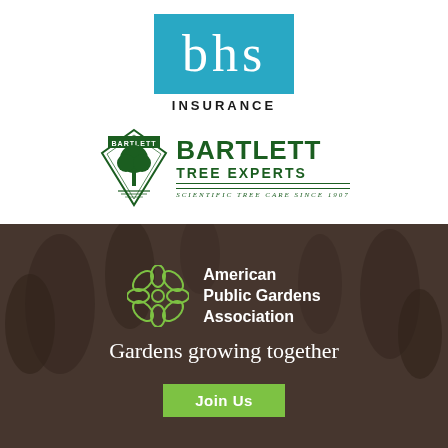[Figure (logo): BHS Insurance logo: teal/cyan square with white serif lowercase 'bhs' text, and 'INSURANCE' in bold black caps below]
[Figure (logo): Bartlett Tree Experts logo: dark green diamond/chevron emblem with tree illustration and 'BARTLETT' text, beside 'BARTLETT TREE EXPERTS' in bold green caps, with 'SCIENTIFIC TREE CARE SINCE 1907' tagline]
[Figure (logo): American Public Gardens Association logo on dark brown/sepia background with plant silhouettes: geometric green flower/mandala icon beside 'American Public Gardens Association' in white text]
Gardens growing together
Join Us